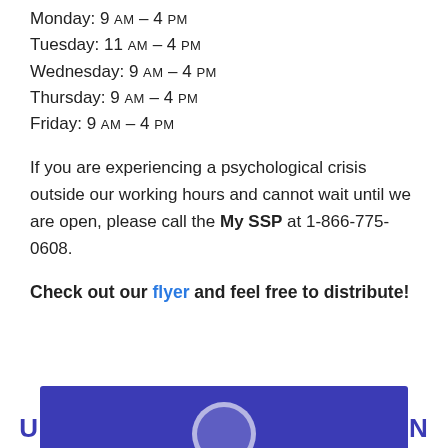Monday: 9 AM – 4 PM
Tuesday: 11 AM – 4 PM
Wednesday: 9 AM – 4 PM
Thursday: 9 AM – 4 PM
Friday: 9 AM – 4 PM
If you are experiencing a psychological crisis outside our working hours and cannot wait until we are open, please call the My SSP at 1-866-775-0608.
Check out our flyer and feel free to distribute!
[Figure (logo): University of Washington logo with purple wordmark and purple banner image area at bottom]